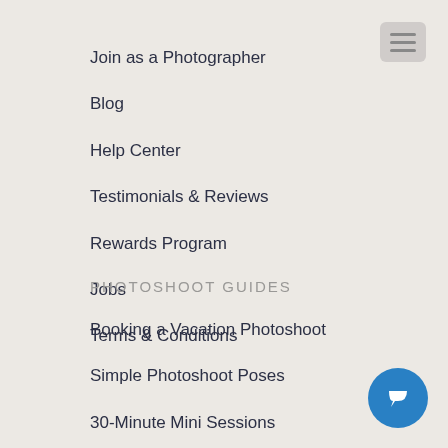Join as a Photographer
Blog
Help Center
Testimonials & Reviews
Rewards Program
Jobs
Terms & Conditions
PHOTOSHOOT GUIDES
Booking a Vacation Photoshoot
Simple Photoshoot Poses
30-Minute Mini Sessions
What to Wear to Your Photoshoot